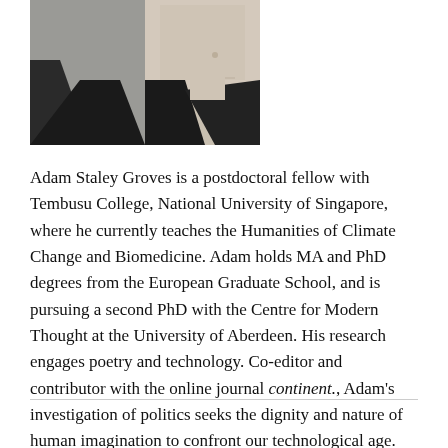[Figure (photo): A partially visible photograph of a person wearing a dark outfit, showing face and upper body cropped]
Adam Staley Groves is a postdoctoral fellow with Tembusu College, National University of Singapore, where he currently teaches the Humanities of Climate Change and Biomedicine. Adam holds MA and PhD degrees from the European Graduate School, and is pursuing a second PhD with the Centre for Modern Thought at the University of Aberdeen. His research engages poetry and technology. Co-editor and contributor with the online journal continent., Adam's investigation of politics seeks the dignity and nature of human imagination to confront our technological age.